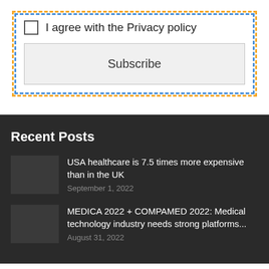I agree with the Privacy policy
Subscribe
Recent Posts
USA healthcare is 7.5 times more expensive than in the UK
September 1, 2022
MEDICA 2022 + COMPAMED 2022: Medical technology industry needs strong platforms...
August 31, 2022